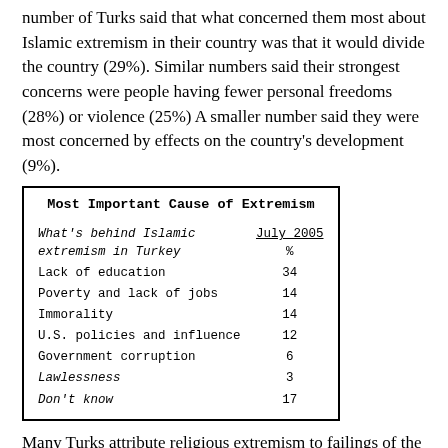number of Turks said that what concerned them most about Islamic extremism in their country was that it would divide the country (29%). Similar numbers said their strongest concerns were people having fewer personal freedoms (28%) or violence (25%) A smaller number said they were most concerned by effects on the country's development (9%).
| What's behind Islamic extremism in Turkey | July 2005 % |
| --- | --- |
| Lack of education | 34 |
| Poverty and lack of jobs | 14 |
| Immorality | 14 |
| U.S. policies and influence | 12 |
| Government corruption | 6 |
| Lawlessness | 3 |
| Don't know | 17 |
Many Turks attribute religious extremism to failings of the secular society, especially in providing education and creating enough jobs. The largest number of people (34%) cites lack of education as the most important cause of Islamic extremism in